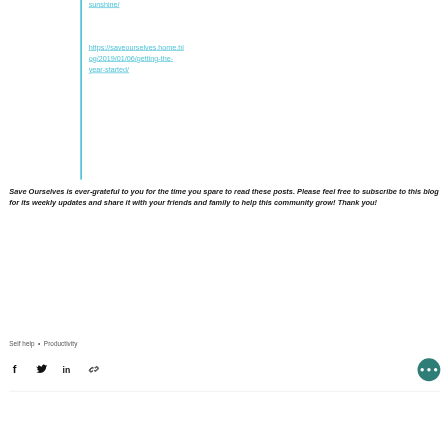sunshine/
https://saveourselves.home.blog/2019/01/06/getting-the-year-started/
Save Ourselves is ever-grateful to you for the time you spare to read these posts. Please feel free to subscribe to this blog for its weekly updates and share it with your friends and family to help this community grow! Thank you!
Self help • Productivity
[Figure (infographic): Social sharing icons: Facebook, Twitter, LinkedIn, link/chain icon, and a teal circular more options button with three dots]